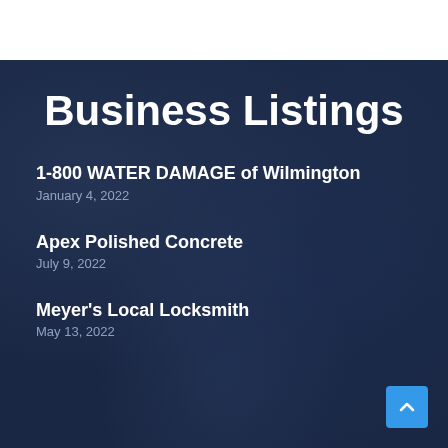Business Listings
1-800 WATER DAMAGE of Wilmington
January 4, 2022
Apex Polished Concrete
July 9, 2022
Meyer's Local Locksmith
May 13, 2022